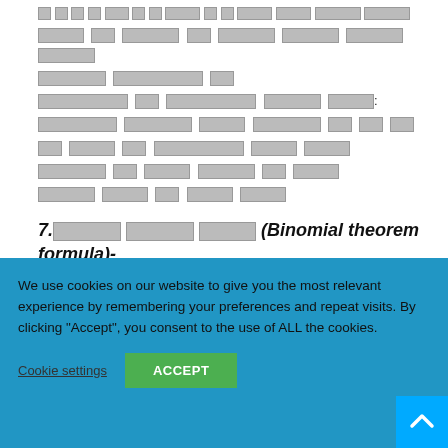[redacted text — multiple lines of Hindi/regional script content, redacted with placeholder blocks]
7.[redacted] [redacted] [redacted] (Binomial theorem formula)-
[redacted text line with n reference]
We use cookies on our website to give you the most relevant experience by remembering your preferences and repeat visits. By clicking "Accept", you consent to the use of ALL the cookies.
Cookie settings | ACCEPT